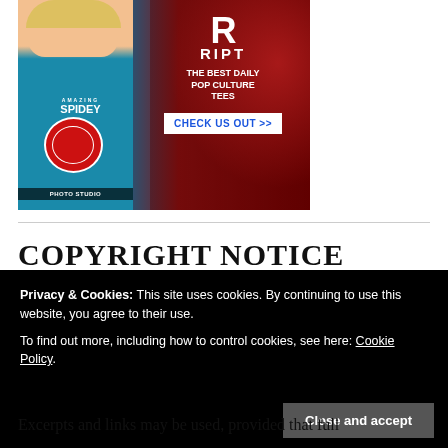[Figure (photo): Advertisement banner for RIPT apparel featuring a woman in a blue Amazing Spidey t-shirt. Text reads 'RIPT. THE BEST DAILY POP CULTURE TEES' with a 'CHECK US OUT >>' call-to-action button.]
COPYRIGHT NOTICE
Privacy & Cookies: This site uses cookies. By continuing to use this website, you agree to their use.
To find out more, including how to control cookies, see here: Cookie Policy
Close and accept
Excerpts and links may be used, provided that full